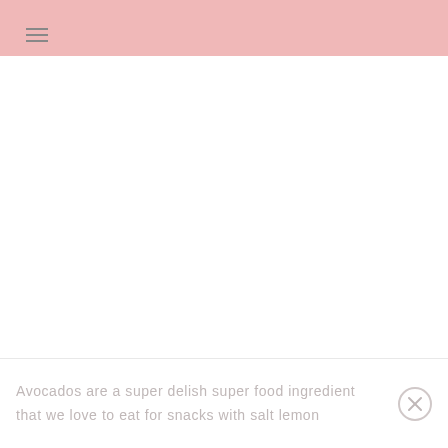[Figure (other): Large white blank content area below pink header]
Avocados are a super delish super food ingredient that we love to eat for snacks with salt lemon